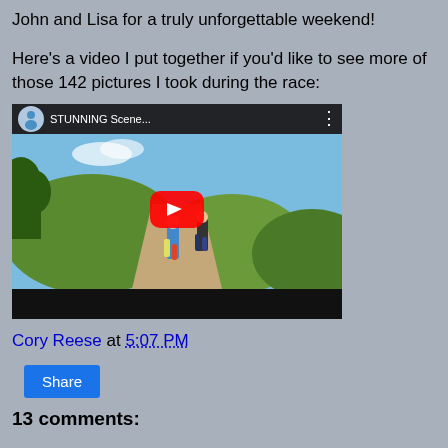John and Lisa for a truly unforgettable weekend!
Here's a video I put together if you'd like to see more of those 142 pictures I took during the race:
[Figure (screenshot): Embedded YouTube video thumbnail showing two trail runners on a dirt path with green hills in the background. Video title reads 'STUNNING Scene...' with a YouTube circular avatar, three-dot menu icon, red play button in center, and black bars at top and bottom.]
Cory Reese at 5:07 PM
Share
13 comments: